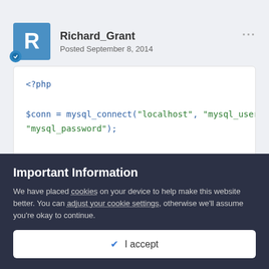[Figure (other): User avatar with letter R on blue background, with a badge]
Richard_Grant
Posted September 8, 2014
<?php

$conn = mysql_connect("localhost", "mysql_user", "mysql_password");

if (!$conn) {
    echo "Unable to connect to DB: " . mysql_error();
Important Information
We have placed cookies on your device to help make this website better. You can adjust your cookie settings, otherwise we'll assume you're okay to continue.
✓  I accept